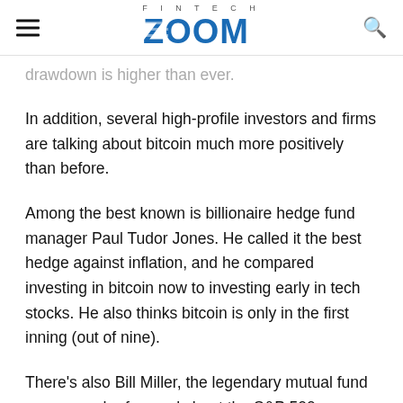FINTECH ZOOM
drawdown is higher than ever.
In addition, several high-profile investors and firms are talking about bitcoin much more positively than before.
Among the best known is billionaire hedge fund manager Paul Tudor Jones. He called it the best hedge against inflation, and he compared investing in bitcoin now to investing early in tech stocks. He also thinks bitcoin is only in the first inning (out of nine).
There’s also Bill Miller, the legendary mutual fund manager who famously beat the S&P 500 every year from 1991 to 2005. He also turned bullish on bitcoin, even urging